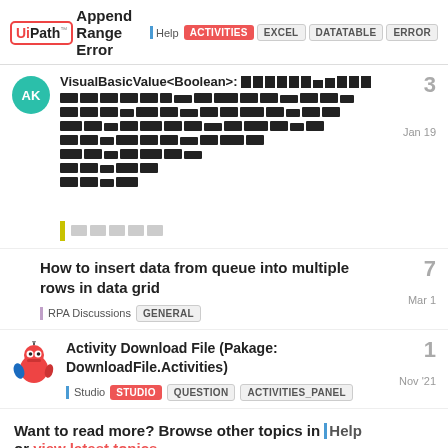UiPath | Append Range Error | Help | ACTIVITIES | EXCEL | DATATABLE | ERROR
[Figure (screenshot): Forum post with blurred code/image content by user AK, shows VisualBasicValue<Boolean>: with redacted content, tag and category bars, Jan 19, 3 replies]
How to insert data from queue into multiple rows in data grid
RPA Discussions | GENERAL | Mar 1 | 7 replies
Activity Download File (Pakage: DownloadFile.Activities)
Studio | STUDIO | QUESTION | ACTIVITIES_PANEL | Nov '21 | 1 reply
Want to read more? Browse other topics in Help or view latest topics.